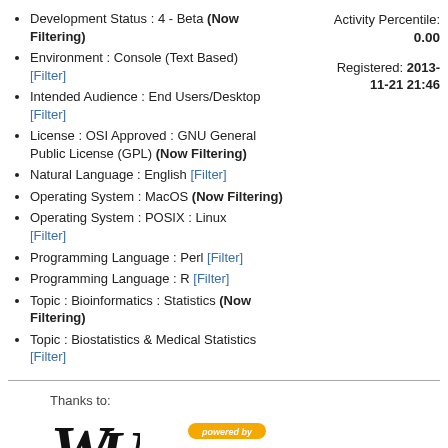Development Status : 4 - Beta (Now Filtering)
Environment : Console (Text Based) [Filter]
Intended Audience : End Users/Desktop [Filter]
License : OSI Approved : GNU General Public License (GPL) (Now Filtering)
Natural Language : English [Filter]
Operating System : MacOS (Now Filtering)
Operating System : POSIX : Linux [Filter]
Programming Language : Perl [Filter]
Programming Language : R [Filter]
Topic : Bioinformatics : Statistics (Now Filtering)
Topic : Biostatistics & Medical Statistics [Filter]
Activity Percentile: 0.00
Registered: 2013-11-21 21:46
Thanks to:
[Figure (logo): WU Vienna logo]
[Figure (logo): Powered by FusionForge logo]